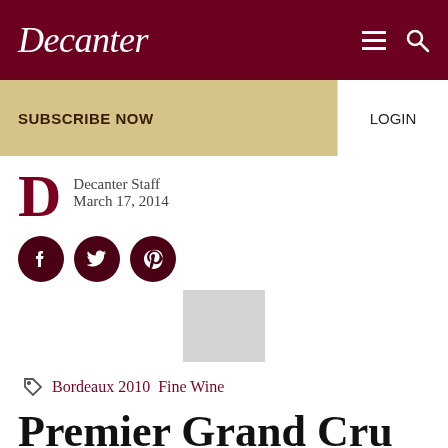Decanter
SUBSCRIBE NOW   LOGIN
Decanter Staff
March 17, 2014
[Figure (logo): Social media share buttons: Facebook, Twitter, Pinterest]
[Figure (photo): Small grey placeholder image thumbnail]
Bordeaux 2010   Fine Wine
Premier Grand Cru Classe